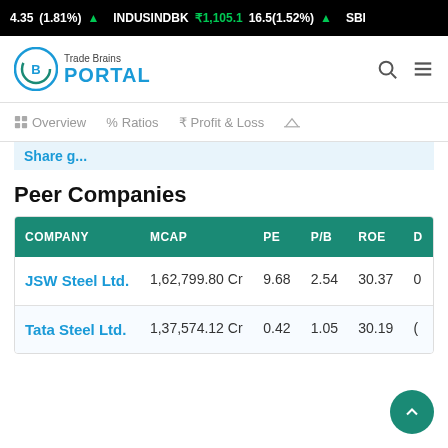4.35(1.81%) ▲   INDUSINDBK ₹1,105.1  16.5(1.52%) ▲   SBI
[Figure (logo): Trade Brains Portal logo with circular chart icon and blue PORTAL text]
Overview  Ratios  Profit & Loss
Share g...
Peer Companies
| COMPANY | MCAP | PE | P/B | ROE | D |
| --- | --- | --- | --- | --- | --- |
| JSW Steel Ltd. | 1,62,799.80 Cr | 9.68 | 2.54 | 30.37 | 0 |
| Tata Steel Ltd. | 1,37,574.12 Cr | 0.42 | 1.05 | 30.19 | ( |